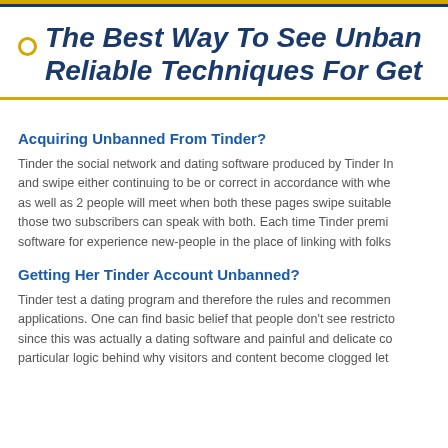The Best Way To See Unbanned Reliable Techniques For Get
Acquiring Unbanned From Tinder?
Tinder the social network and dating software produced by Tinder Inc. and swipe either continuing to be or correct in accordance with whe as well as 2 people will meet when both these pages swipe suitable those two subscribers can speak with both. Each time Tinder premi software for experience new-people in the place of linking with folks
Getting Her Tinder Account Unbanned?
Tinder test a dating program and therefore the rules and recommen applications. One can find basic belief that people don't see restricto since this was actually a dating software and painful and delicate co particular logic behind why visitors and content become clogged let